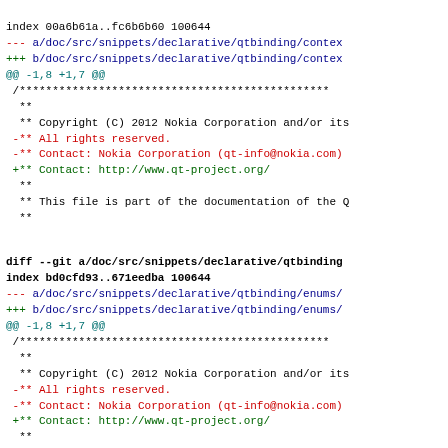index 00a6b61a..fc6b6b60 100644
--- a/doc/src/snippets/declarative/qtbinding/contex
+++ b/doc/src/snippets/declarative/qtbinding/contex
@@ -1,8 +1,7 @@
/***
 **
 ** Copyright (C) 2012 Nokia Corporation and/or its
-** All rights reserved.
-** Contact: Nokia Corporation (qt-info@nokia.com)
+** Contact: http://www.qt-project.org/
 **
 ** This file is part of the documentation of the Q
 **
diff --git a/doc/src/snippets/declarative/qtbinding
index bd0cfd93..671eedba 100644
--- a/doc/src/snippets/declarative/qtbinding/enums/
+++ b/doc/src/snippets/declarative/qtbinding/enums/
@@ -1,8 +1,7 @@
/***
 **
 ** Copyright (C) 2012 Nokia Corporation and/or its
-** All rights reserved.
-** Contact: Nokia Corporation (qt-info@nokia.com)
+** Contact: http://www.qt-project.org/
 **
 ** This file is part of the documentation of the Q
 **
diff --git a/doc/src/snippets/declarative/qtbinding
index a41bb526..d65f7ba9 100644